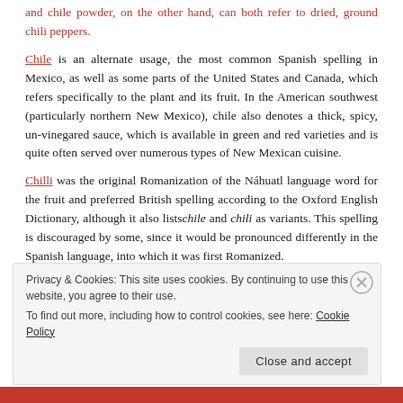and chile powder, on the other hand, can both refer to dried, ground chili peppers.
Chile is an alternate usage, the most common Spanish spelling in Mexico, as well as some parts of the United States and Canada, which refers specifically to the plant and its fruit. In the American southwest (particularly northern New Mexico), chile also denotes a thick, spicy, un-vinegared sauce, which is available in green and red varieties and is quite often served over numerous types of New Mexican cuisine.
Chilli was the original Romanization of the Náhuatl language word for the fruit and preferred British spelling according to the Oxford English Dictionary, although it also lists chile and chili as variants. This spelling is discouraged by some, since it would be pronounced differently in the Spanish language, into which it was first Romanized.
Privacy & Cookies: This site uses cookies. By continuing to use this website, you agree to their use. To find out more, including how to control cookies, see here: Cookie Policy